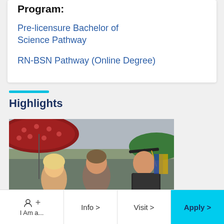Program:
Pre-licensure Bachelor of Science Pathway
RN-BSN Pathway (Online Degree)
Highlights
[Figure (photo): Graduation photo showing a graduate in cap and gown being congratulated by family members holding umbrellas outdoors]
I Am a... +  |  Info >  |  Visit >  |  Apply >